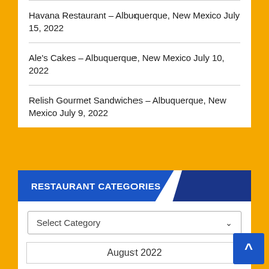Havana Restaurant – Albuquerque, New Mexico July 15, 2022
Ale's Cakes – Albuquerque, New Mexico July 10, 2022
Relish Gourmet Sandwiches – Albuquerque, New Mexico July 9, 2022
RESTAURANT CATEGORIES
Select Category
August 2022